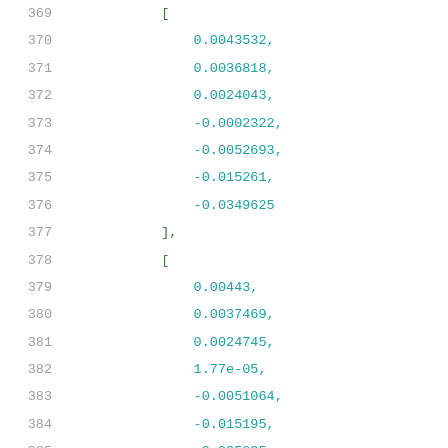Code listing lines 369-390 showing JSON/array data with numeric values and keys related_pin and rise_power,power_outputs_1